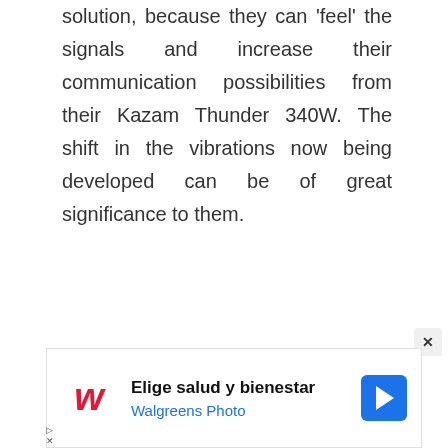solution, because they can 'feel' the signals and increase their communication possibilities from their Kazam Thunder 340W. The shift in the vibrations now being developed can be of great significance to them.
[Figure (other): Walgreens advertisement banner with logo, text 'Elige salud y bienestar / Walgreens Photo' and navigation arrow icon]